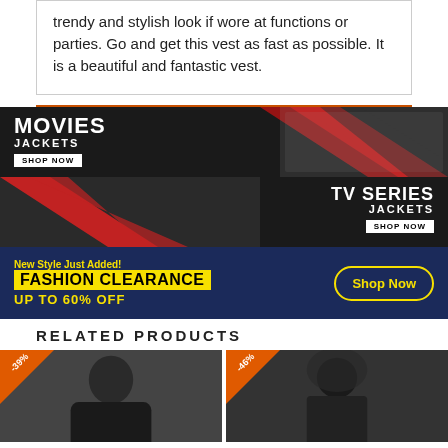trendy and stylish look if wore at functions or parties. Go and get this vest as fast as possible. It is a beautiful and fantastic vest.
[Figure (infographic): Movies Jackets banner - black background with red chevrons, characters in movie jackets, 'MOVIES JACKETS SHOP NOW' text]
[Figure (infographic): TV Series Jackets banner - black background with red chevrons, TV series characters in jackets, 'TV SERIES JACKETS SHOP NOW' text]
[Figure (infographic): Fashion Clearance banner - dark blue background, 'New Style Just Added! FASHION CLEARANCE UP TO 60% OFF' in yellow, Shop Now button]
RELATED PRODUCTS
[Figure (photo): Product photo with -39% orange badge, man in dark leather jacket]
[Figure (photo): Product photo with -46% orange badge, man in dark hooded jacket]